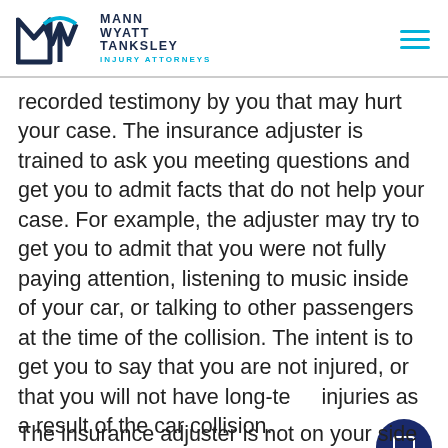Mann Wyatt Tanksley Injury Attorneys
recorded testimony by you that may hurt your case. The insurance adjuster is trained to ask you meeting questions and get you to admit facts that do not help your case. For example, the adjuster may try to get you to admit that you were not fully paying attention, listening to music inside of your car, or talking to other passengers at the time of the collision. The intent is to get you to say that you are not injured, or that you will not have long-term injuries as a result of the car collision.
The insurance adjuster is not on your side...